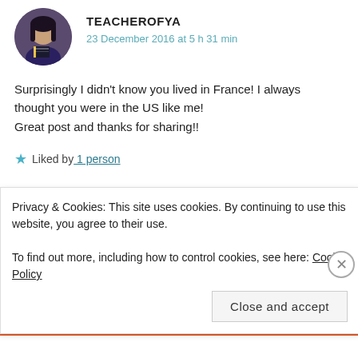[Figure (photo): Circular avatar photo of a person with long dark hair holding a book, with a dark purple background]
TEACHEROFYA
23 December 2016 at 5 h 31 min
Surprisingly I didn't know you lived in France! I always thought you were in the US like me!
Great post and thanks for sharing!!
★ Liked by 1 person
[Figure (illustration): Small tree/nature illustration used as avatar for Marie @ DrizzleandHurricaneBooks]
MARIE @ DRIZZLEANDHURRICANEBOOKS
Privacy & Cookies: This site uses cookies. By continuing to use this website, you agree to their use.
To find out more, including how to control cookies, see here: Cookie Policy
Close and accept